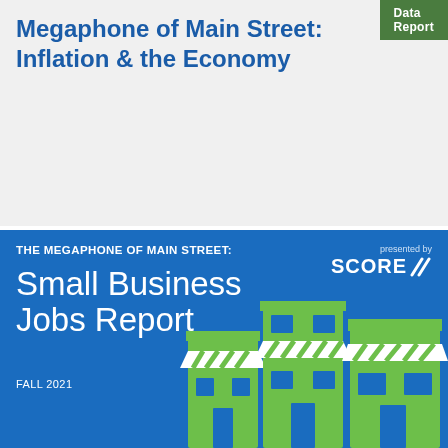Data Report
Megaphone of Main Street: Inflation & the Economy
This “Megaphone of Main Street” data report by SCORE examines how small businesses are being impacted by the current economy and inflation, how turbulent economic factors have… Read more ›
[Figure (illustration): Blue promotional card for 'The Megaphone of Main Street: Small Business Jobs Report, Fall 2021' presented by SCORE, with illustrated green storefront buildings on the right side.]